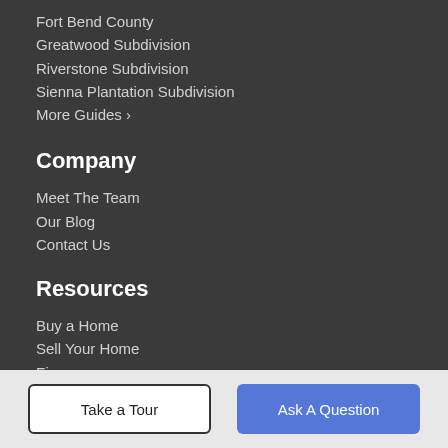Fort Bend County
Greatwood Subdivision
Riverstone Subdivision
Sienna Plantation Subdivision
More Guides ›
Company
Meet The Team
Our Blog
Contact Us
Resources
Buy a Home
Sell Your Home
Finance
Take a Tour
Ask A Question